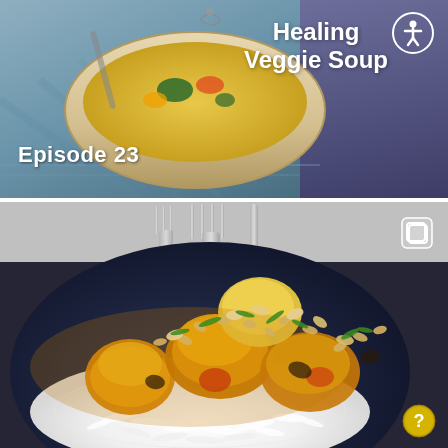[Figure (photo): Top section: Photo of a veggie soup bowl with text overlay 'Episode 23' on the left and 'Healing Veggie Soup' on the right with an accessibility icon (person in circle). Background shows a bowl of golden soup with vegetables.]
[Figure (photo): Bottom section: Close-up photo of a golden/yellow curry dish served over white rice in a dark blue plate, garnished with chopped peanuts and green onions. A copy/duplicate icon appears top-right and a question mark icon appears bottom-right.]